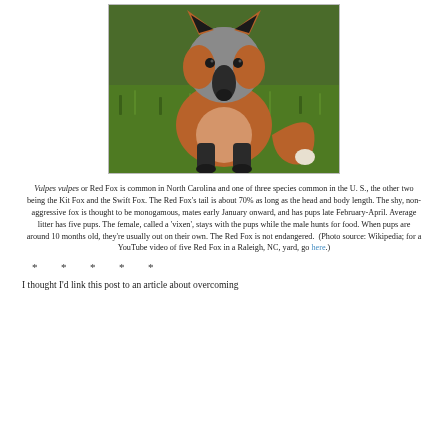[Figure (photo): Close-up photo of a Red Fox (Vulpes vulpes) sitting on grass, facing forward, with a dark snout and orange/brown fur, on a green grass background.]
Vulpes vulpes or Red Fox is common in North Carolina and one of three species common in the U. S., the other two being the Kit Fox and the Swift Fox. The Red Fox's tail is about 70% as long as the head and body length. The shy, non-aggressive fox is thought to be monogamous, mates early January onward, and has pups late February-April. Average litter has five pups. The female, called a 'vixen', stays with the pups while the male hunts for food. When pups are around 10 months old, they're usually out on their own. The Red Fox is not endangered. (Photo source: Wikipedia; for a YouTube video of five Red Fox in a Raleigh, NC, yard, go here.)
* * * * *
I thought I'd link this post to an article about overcoming